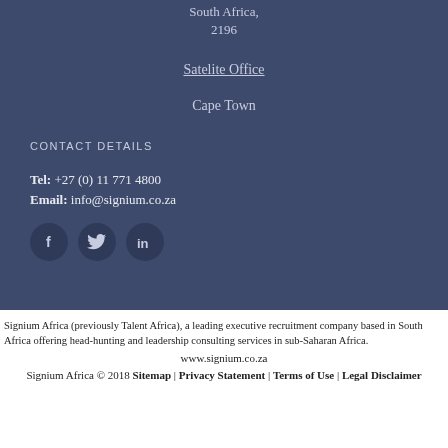South Africa,
2196
Satelite Office
Cape Town
CONTACT DETAILS
Tel: +27 (0) 11 771 4800
Email: info@signium.co.za
[Figure (other): Social media icons: Facebook, Twitter, LinkedIn]
Signium Africa (previously Talent Africa), a leading executive recruitment company based in South Africa offering head-hunting and leadership consulting services in sub-Saharan Africa.
www.signium.co.za
Signium Africa © 2018 Sitemap | Privacy Statement | Terms of Use | Legal Disclaimer